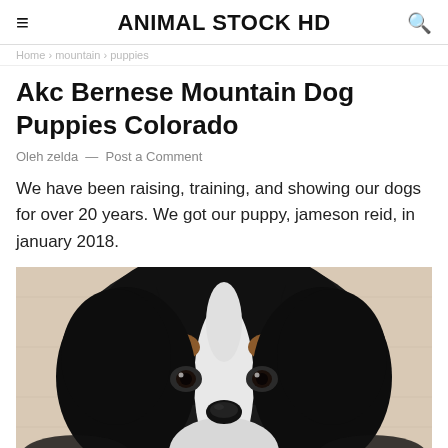ANIMAL STOCK HD
Home > mountain > puppies
Akc Bernese Mountain Dog Puppies Colorado
Oleh zelda — Post a Comment
We have been raising, training, and showing our dogs for over 20 years. We got our puppy, jameson reid, in january 2018.
[Figure (photo): Close-up photo of a Bernese Mountain Dog puppy with black, white, and tan fur, looking directly at the camera against a light wooden background.]